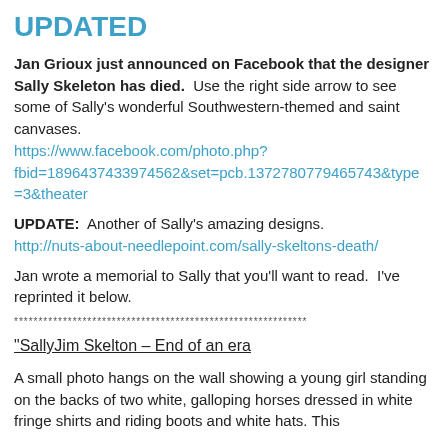UPDATED
Jan Grioux just announced on Facebook that the designer Sally Skeleton has died.  Use the right side arrow to see some of Sally's wonderful Southwestern-themed and saint canvases.
https://www.facebook.com/photo.php?fbid=1896437433974562&set=pcb.1372780779465743&type=3&theater
UPDATE:  Another of Sally's amazing designs.
http://nuts-about-needlepoint.com/sally-skeltons-death/
Jan wrote a memorial to Sally that you'll want to read.  I've reprinted it below.
************************************************************
"SallyJim Skelton – End of an era
A small photo hangs on the wall showing a young girl standing on the backs of two white, galloping horses dressed in white fringe shirts and riding boots and white hats. This